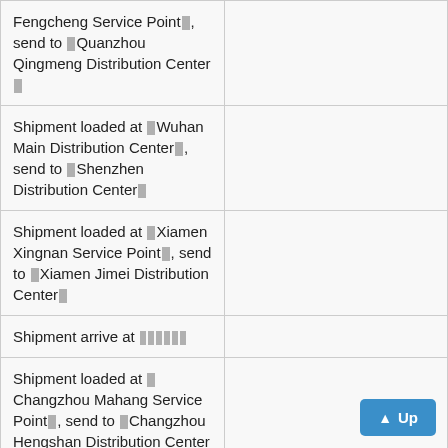| Fengcheng Service Point▮, send to ▮Quanzhou Qingmeng Distribution Center▮ |  |
| Shipment loaded at ▮Wuhan Main Distribution Center▮, send to ▮Shenzhen Distribution Center▮ |  |
| Shipment loaded at ▮Xiamen Xingnan Service Point▮, send to ▮Xiamen Jimei Distribution Center▮ |  |
| Shipment arrive at ▮▮▮▮▮▮ |  |
| Shipment loaded at ▮Changzhou Mahang Service Point▮, send to ▮Changzhou Hengshan Distribution Center▮ |  |